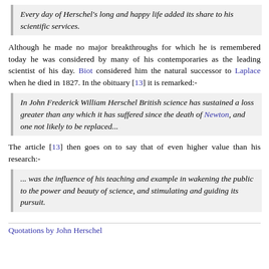Every day of Herschel's long and happy life added its share to his scientific services.
Although he made no major breakthroughs for which he is remembered today he was considered by many of his contemporaries as the leading scientist of his day. Biot considered him the natural successor to Laplace when he died in 1827. In the obituary [13] it is remarked:-
In John Frederick William Herschel British science has sustained a loss greater than any which it has suffered since the death of Newton, and one not likely to be replaced...
The article [13] then goes on to say that of even higher value than his research:-
... was the influence of his teaching and example in wakening the public to the power and beauty of science, and stimulating and guiding its pursuit.
Quotations by John Herschel